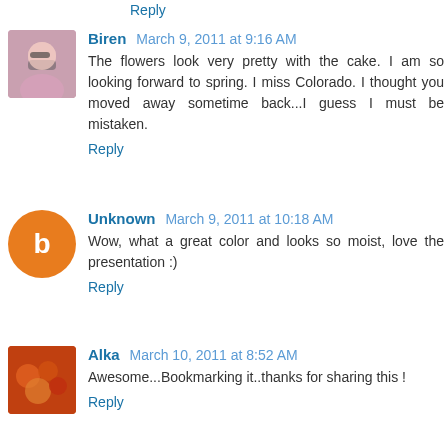Reply
Biren March 9, 2011 at 9:16 AM
The flowers look very pretty with the cake. I am so looking forward to spring. I miss Colorado. I thought you moved away sometime back...I guess I must be mistaken.
Reply
Unknown March 9, 2011 at 10:18 AM
Wow, what a great color and looks so moist, love the presentation :)
Reply
Alka March 10, 2011 at 8:52 AM
Awesome...Bookmarking it..thanks for sharing this !
Reply